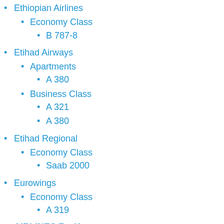Ethiopian Airlines
Economy Class
B 787-8
Etihad Airways
Apartments
A 380
Business Class
A 321
A 380
Etihad Regional
Economy Class
Saab 2000
Eurowings
Economy Class
A 319
AIRLINES F – K
Fiji A...